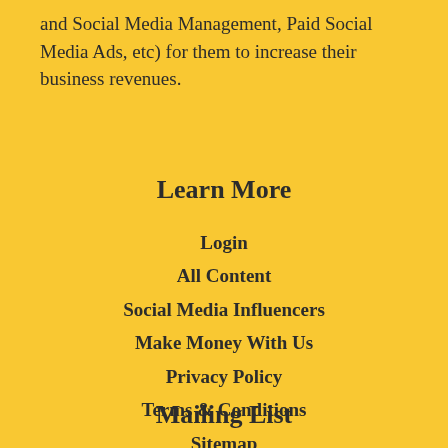and Social Media Management, Paid Social Media Ads, etc) for them to increase their business revenues.
Learn More
Login
All Content
Social Media Influencers
Make Money With Us
Privacy Policy
Terms & Conditions
Sitemap
Book An Appointment
Mailing List